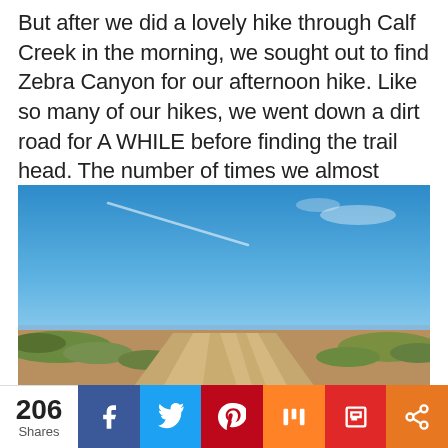But after we did a lovely hike through Calf Creek in the morning, we sought out to find Zebra Canyon for our afternoon hike. Like so many of our hikes, we went down a dirt road for A WHILE before finding the trail head. The number of times we almost turned back...
[Figure (photo): View from inside a car looking out over a dirt road through sparse desert scrubland under a bright blue sky with faint clouds and contrails. The car's black dashboard is visible at the bottom.]
206 Shares  [Facebook] [Twitter] [Pinterest] [Mix] [Flipboard] [Share]